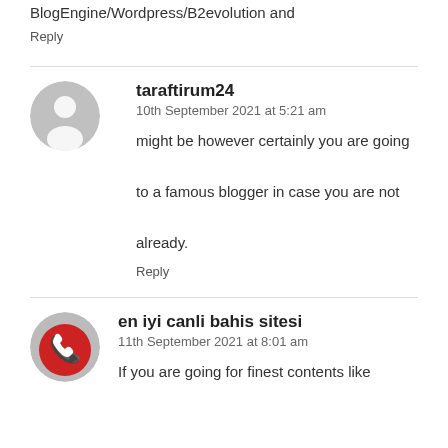BlogEngine/Wordpress/B2evolution and
Reply
taraftirum24
10th September 2021 at 5:21 am
might be however certainly you are going to a famous blogger in case you are not already.
Reply
en iyi canli bahis sitesi
11th September 2021 at 8:01 am
If you are going for finest contents like